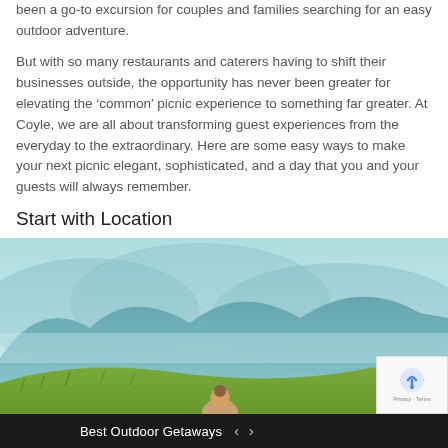been a go-to excursion for couples and families searching for an easy outdoor adventure.
But with so many restaurants and caterers having to shift their businesses outside, the opportunity has never been greater for elevating the ‘common’ picnic experience to something far greater. At Coyle, we are all about transforming guest experiences from the everyday to the extraordinary. Here are some easy ways to make your next picnic elegant, sophisticated, and a day that you and your guests will always remember.
Start with Location
[Figure (photo): A woman sitting on a hilltop with a picnic, facing away from the camera toward a scenic mountain range with green grass and misty blue mountains in the background.]
Best Outdoor Getaways